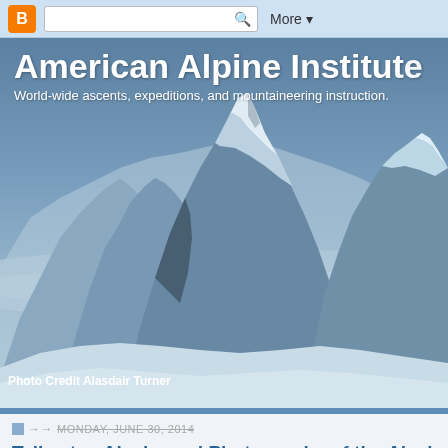Blogger navigation bar with logo, search, and More button
[Figure (photo): Snow-covered mountain range (Alaska Range) viewed from above, with blue-gray sky and clouds below the peaks. Photo credit: Alasdair Turner.]
American Alpine Institute
World-wide ascents, expeditions, and mountaineering instruction.
Photo Credit Alasdair Turner
MONDAY, JUNE 30, 2014
Talkeetna Alaska and Photography of the Alaska Range
Earlier this year I spent a week in Talkeetna Alaska to try to re-shoot a ph